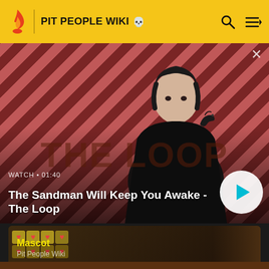PIT PEOPLE WIKI
[Figure (screenshot): Video thumbnail showing a dark-cloaked figure with a crow on his shoulder against a diagonal red and dark stripe background. Text 'THE LOOP' visible in lower portion. Watch time: 01:40. Play button overlay. Title: The Sandman Will Keep You Awake - The Loop]
[Figure (screenshot): Mascot card showing Pit People Wiki game art with heart icons and game board imagery. Title: Mascot, Subtitle: Pit People Wiki]